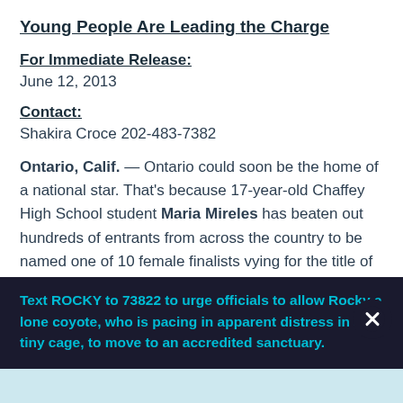Young People Are Leading the Charge
For Immediate Release:
June 12, 2013
Contact:
Shakira Croce 202-483-7382
Ontario, Calif. — Ontario could soon be the home of a national star. That's because 17-year-old Chaffey High School student Maria Mireles has beaten out hundreds of entrants from across the country to be named one of 10 female finalists vying for the title of Cutest Vegan Alive in a contest sponsored by peta2—PETA's youth division.
Text ROCKY to 73822 to urge officials to allow Rocky a lone coyote, who is pacing in apparent distress in a tiny cage, to move to an accredited sanctuary.